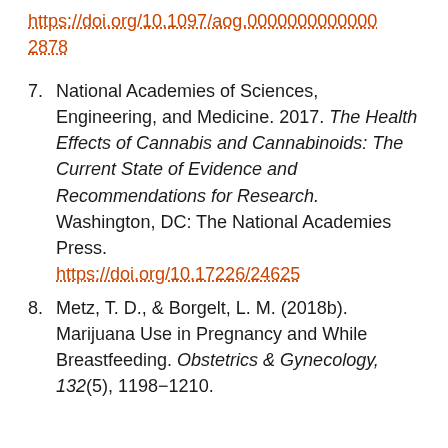https://doi.org/10.1097/aog.0000000000002878
7. National Academies of Sciences, Engineering, and Medicine. 2017. The Health Effects of Cannabis and Cannabinoids: The Current State of Evidence and Recommendations for Research. Washington, DC: The National Academies Press. https://doi.org/10.17226/24625
8. Metz, T. D., & Borgelt, L. M. (2018b). Marijuana Use in Pregnancy and While Breastfeeding. Obstetrics & Gynecology, 132(5), 1198–1210.